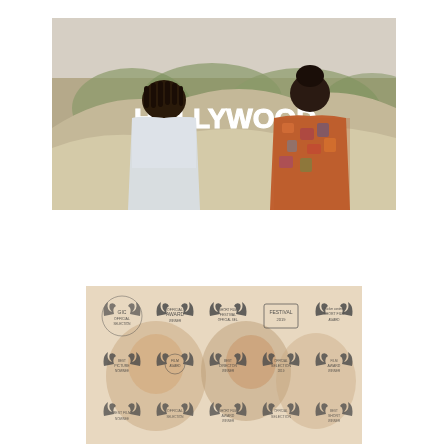[Figure (photo): Two people seen from behind looking at the Hollywood sign on a hillside. The person on the left wears a light blue/white shirt with dreadlocks; the person on the right wears a colorful floral top with their hair up.]
[Figure (photo): A horizontal banner/promotional image for a film showing festival laurel award badges arranged in three rows of five laurels each, overlaid on a faded composite image of film stills featuring close-up faces.]